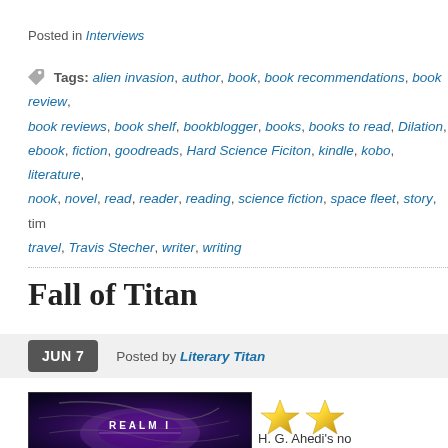Posted in Interviews
Tags: alien invasion, author, book, book recommendations, book review, book reviews, book shelf, bookblogger, books, books to read, Dilation, ebook, fiction, goodreads, Hard Science Ficiton, kindle, kobo, literature, nook, novel, read, reader, reading, science fiction, space fleet, story, time travel, Travis Stecher, writer, writing
Fall of Titan
JUN 7  Posted by Literary Titan
[Figure (photo): Book cover showing space/galaxy imagery with text REALM I]
[Figure (other): Two gold stars rating]
H. G. Ahedi's no beginning of a sci-fi within range of the